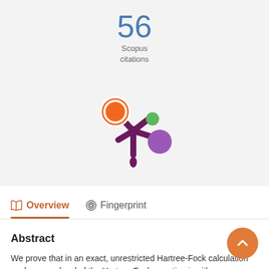56
Scopus citations
[Figure (logo): Scopus / Pure snowflake-like logo with orange, green and purple circles]
Overview
Fingerprint
Abstract
We prove that in an exact, unrestricted Hartree-Fock calculation each energy level of the Hartree-Fock equation is either